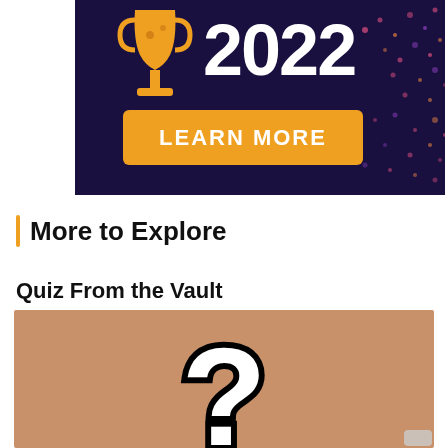[Figure (illustration): Dark navy blue promotional banner with a trophy icon and '2022' in bold white text, with an orange 'LEARN MORE' button and decorative colored dots on the right side.]
More to Explore
Quiz From the Vault
[Figure (illustration): Brown/tan background with a large black and white question mark partially visible.]